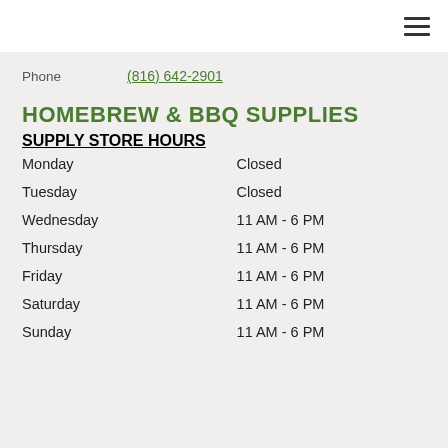(hamburger menu icon)
Phone   (816) 642-2901
HOMEBREW & BBQ SUPPLIES
SUPPLY STORE HOURS
| Day | Hours |
| --- | --- |
| Monday | Closed |
| Tuesday | Closed |
| Wednesday | 11 AM - 6 PM |
| Thursday | 11 AM - 6 PM |
| Friday | 11 AM - 6 PM |
| Saturday | 11 AM - 6 PM |
| Sunday | 11 AM - 6 PM |